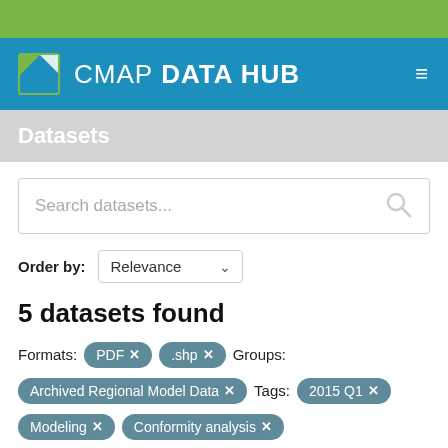[Figure (logo): CMAP Data Hub logo with green bar, blue navigation bar containing CMAP DATA HUB text and hamburger menu icon]
Datasets
Search datasets...
Order by: Relevance
5 datasets found
Formats: PDF × .shp × Groups:
Archived Regional Model Data × Tags: 2015 Q1 ×
Modeling × Conformity analysis ×
Filter Results